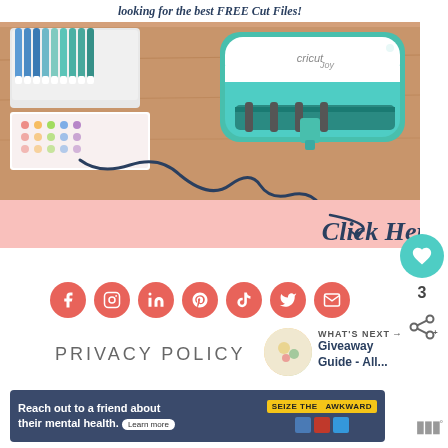[Figure (photo): Promotional banner image showing a Cricut Joy cutting machine in teal/white with colored markers/pens on a wooden table, with pink overlay section at bottom containing cursive 'Click Here' text and a swirl arrow. Top has 'Looking for the best FREE Cut Files!' text.]
3
[Figure (infographic): Row of coral/red circular social media icons: Facebook, Instagram, LinkedIn, Pinterest, TikTok, Twitter, Email]
PRIVACY POLICY
[Figure (infographic): WHAT'S NEXT arrow label with circular thumbnail image and text 'Giveaway Guide - All...']
[Figure (photo): Advertisement banner: 'Reach out to a friend about their mental health. Learn more' with 'SEIZE THE AWKWARD' yellow badge - dark blue background]